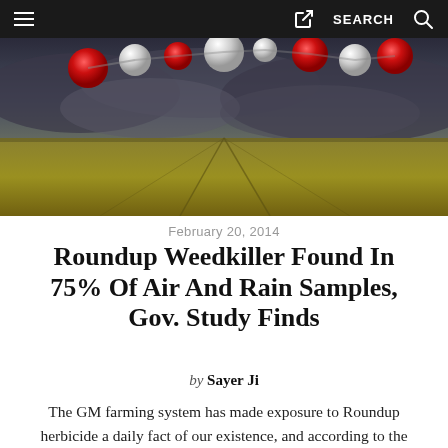≡  [share]  SEARCH  🔍
[Figure (photo): A wide-angle photo of a golden wheat field under a dramatic stormy sky with red and white molecular ball models floating above the field.]
February 20, 2014
Roundup Weedkiller Found In 75% Of Air And Rain Samples, Gov. Study Finds
by Sayer Ji
The GM farming system has made exposure to Roundup herbicide a daily fact of our existence, and according to the latest US Geological Survey…